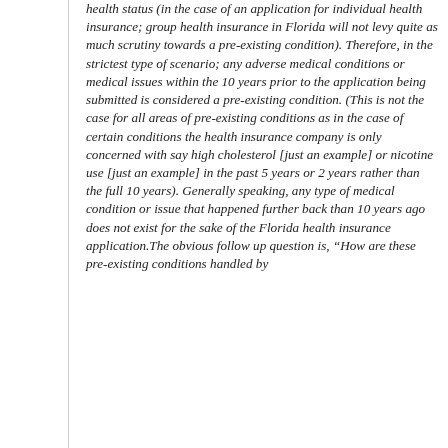health status (in the case of an application for individual health insurance; group health insurance in Florida will not levy quite as much scrutiny towards a pre-existing condition). Therefore, in the strictest type of scenario; any adverse medical conditions or medical issues within the 10 years prior to the application being submitted is considered a pre-existing condition. (This is not the case for all areas of pre-existing conditions as in the case of certain conditions the health insurance company is only concerned with say high cholesterol [just an example] or nicotine use [just an example] in the past 5 years or 2 years rather than the full 10 years). Generally speaking, any type of medical condition or issue that happened further back than 10 years ago does not exist for the sake of the Florida health insurance application.The obvious follow up question is, “How are these pre-existing conditions handled by